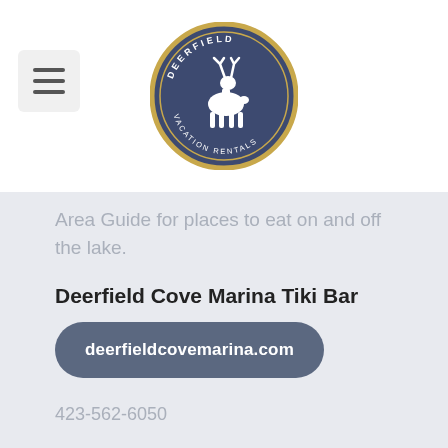[Figure (logo): Deerfield Vacation Rentals circular logo with deer silhouette on dark blue/purple background with gold border]
Area Guide for places to eat on and off the lake.
Deerfield Cove Marina Tiki Bar
deerfieldcovemarina.com
423-562-6050
Springs Dock
springsdock.com